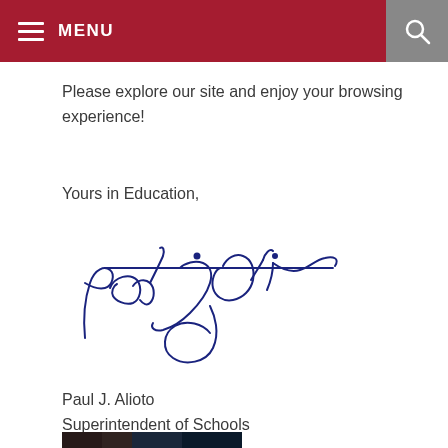MENU
Please explore our site and enjoy your browsing experience!
Yours in Education,
[Figure (illustration): Handwritten signature of Paul J. Alioto in blue ink]
Paul J. Alioto
Superintendent of Schools
[Figure (photo): Partial photo strip at bottom of page showing a building at night]